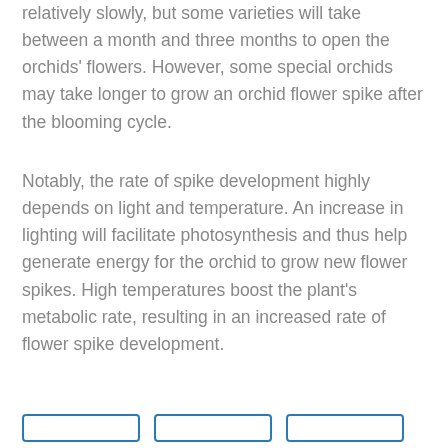relatively slowly, but some varieties will take between a month and three months to open the orchids' flowers. However, some special orchids may take longer to grow an orchid flower spike after the blooming cycle.
Notably, the rate of spike development highly depends on light and temperature. An increase in lighting will facilitate photosynthesis and thus help generate energy for the orchid to grow new flower spikes. High temperatures boost the plant's metabolic rate, resulting in an increased rate of flower spike development.